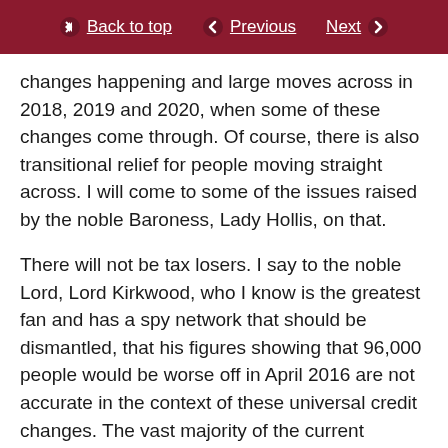Back to top | Previous | Next
changes happening and large moves across in 2018, 2019 and 2020, when some of these changes come through. Of course, there is also transitional relief for people moving straight across. I will come to some of the issues raised by the noble Baroness, Lady Hollis, on that.
There will not be tax losers. I say to the noble Lord, Lord Kirkwood, who I know is the greatest fan and has a spy network that should be dismantled, that his figures showing that 96,000 people would be worse off in April 2016 are not accurate in the context of these universal credit changes. The vast majority of the current universal credit caseload will not lose. It affects only people in work, most of whom are single or childless couples with no limited